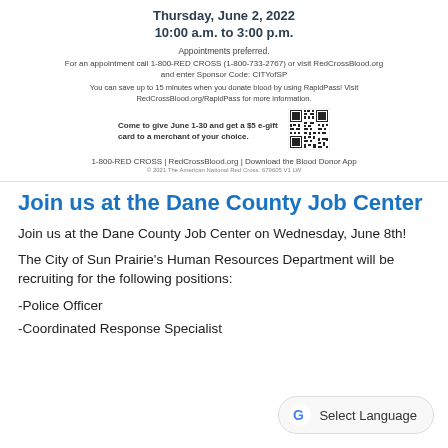Thursday, June 2, 2022
10:00 a.m. to 3:00 p.m.
Appointments preferred.
For an appointment call 1-800-RED CROSS (1-800-733-2767) or visit RedCrossBlood.org and enter Sponsor Code: CITYofSP
You can save up to 15 minutes when you donate blood by using RapidPass! Visit RedCrossBlood.org/RapidPass for more information.
Come to give June 1-30 and get a $5 e-gift card to a merchant of your choice.
[Figure (other): QR code for Red Cross blood donation]
1-800-RED CROSS | RedCrossBlood.org | Download the Blood Donor App
© 2021 The American National Red Cross. 679605 V1 LW
Join us at the Dane County Job Center
Join us at the Dane County Job Center on Wednesday, June 8th!
The City of Sun Prairie's Human Resources Department will be recruiting for the following positions:
-Police Officer
-Coordinated Response Specialist